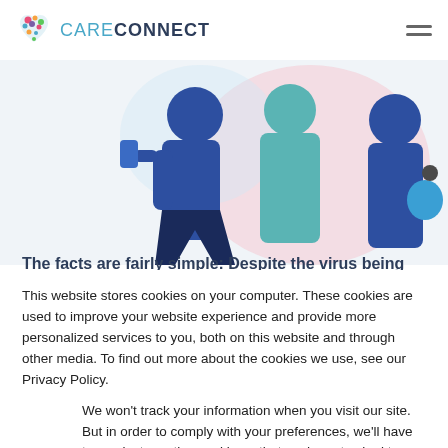CARECONNECT
[Figure (illustration): Illustration of people standing together, partially visible, with colorful background circles.]
The facts are fairly simple: Despite the virus being
This website stores cookies on your computer. These cookies are used to improve your website experience and provide more personalized services to you, both on this website and through other media. To find out more about the cookies we use, see our Privacy Policy.
We won't track your information when you visit our site. But in order to comply with your preferences, we'll have to use just one tiny cookie so that you're not asked to make this choice again.